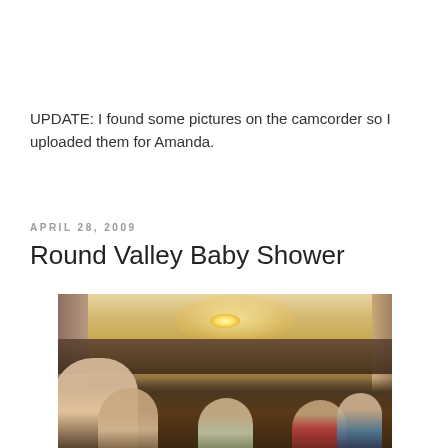UPDATE: I found some pictures on the camcorder so I uploaded them for Amanda.
APRIL 28, 2009
Round Valley Baby Shower
[Figure (photo): Indoor photo of a baby shower gathering showing several women seated around tables in a living room or dining area. A ceiling light fixture is visible overhead. Shelves with decorations line the back wall.]